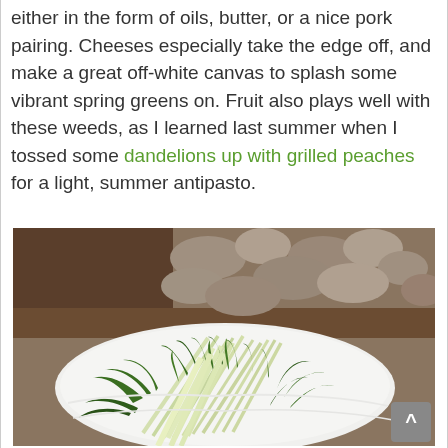either in the form of oils, butter, or a nice pork pairing. Cheeses especially take the edge off, and make a great off-white canvas to splash some vibrant spring greens on. Fruit also plays well with these weeds, as I learned last summer when I tossed some dandelions up with grilled peaches for a light, summer antipasto.
[Figure (photo): A bunch of fresh dandelion greens with pale stems and jagged dark green leaves arranged on a white cloth or paper, with rounded river stones and soil visible in the background.]